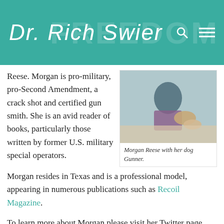Dr. Rich Swier
Reese. Morgan is pro-military, pro-Second Amendment, a crack shot and certified gun smith. She is an avid reader of books, particularly those written by former U.S. military special operators.
[Figure (photo): Photo of Morgan Reese outdoors with her dog Gunner]
Morgan Reese with her dog Gunner.
Morgan resides in Texas and is a professional model, appearing in numerous publications such as Recoil Magazine.
To learn more about Morgan please visit her Twitter page @MorganReeseXO.